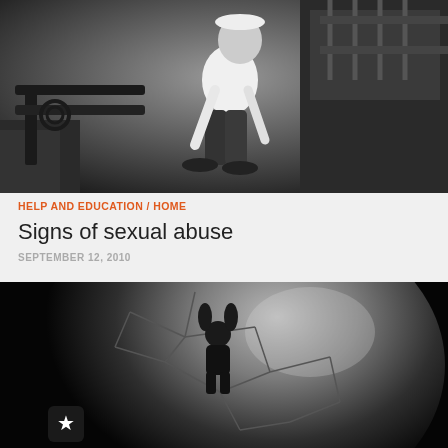[Figure (photo): Black and white photo of a person in a white top and dark pants crouching near a park bench with ornate ironwork, with garden foliage in background]
HELP AND EDUCATION / HOME
Signs of sexual abuse
SEPTEMBER 12, 2010
[Figure (photo): Dark black and white artistic image of a small human figure silhouette inside a globe or sphere, with geometric line patterns suggesting a soccer ball or molecular structure]